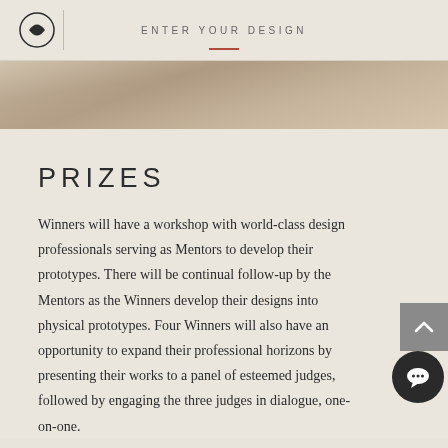ENTER YOUR DESIGN
[Figure (photo): Close-up photo of hands or design-related imagery with warm beige/tan tones]
PRIZES
Winners will have a workshop with world-class design professionals serving as Mentors to develop their prototypes. There will be continual follow-up by the Mentors as the Winners develop their designs into physical prototypes. Four Winners will also have an opportunity to expand their professional horizons by presenting their works to a panel of esteemed judges, followed by engaging the three judges in dialogue, one-on-one.